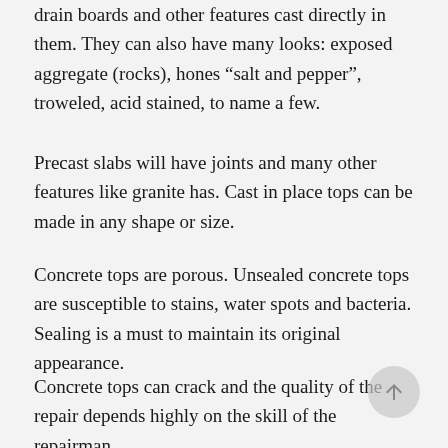drain boards and other features cast directly in them. They can also have many looks: exposed aggregate (rocks), hones “salt and pepper”, troweled, acid stained, to name a few.
Precast slabs will have joints and many other features like granite has. Cast in place tops can be made in any shape or size.
Concrete tops are porous. Unsealed concrete tops are susceptible to stains, water spots and bacteria. Sealing is a must to maintain its original appearance.
Concrete tops can crack and the quality of the repair depends highly on the skill of the repairman.